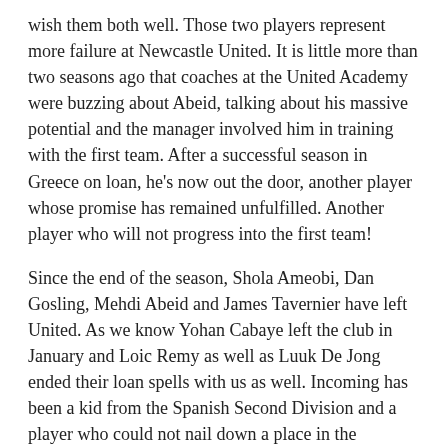wish them both well. Those two players represent more failure at Newcastle United. It is little more than two seasons ago that coaches at the United Academy were buzzing about Abeid, talking about his massive potential and the manager involved him in training with the first team. After a successful season in Greece on loan, he's now out the door, another player whose promise has remained unfulfilled. Another player who will not progress into the first team!
Since the end of the season, Shola Ameobi, Dan Gosling, Mehdi Abeid and James Tavernier have left United. As we know Yohan Cabaye left the club in January and Loic Remy as well as Luuk De Jong ended their loan spells with us as well. Incoming has been a kid from the Spanish Second Division and a player who could not nail down a place in the Sunderland first team.